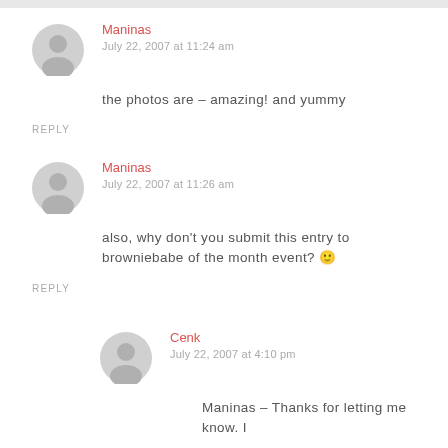Maninas
July 22, 2007 at 11:24 am
the photos are – amazing! and yummy
REPLY
Maninas
July 22, 2007 at 11:26 am
also, why don't you submit this entry to browniebabe of the month event? 🙂
REPLY
Cenk
July 22, 2007 at 4:10 pm
Maninas – Thanks for letting me know. I